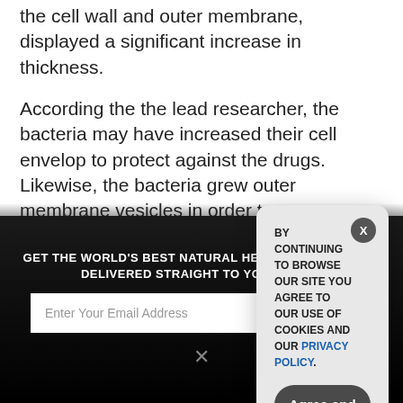the cell wall and outer membrane, displayed a significant increase in thickness.
According the the lead researcher, the bacteria may have increased their cell envelop to protect against the drugs. Likewise, the bacteria grew outer membrane vesicles in order to communicate with each other.
“Both the increase in cell envelope thickness and in the outer membrane vesicles may be indicative of drug resistance mechanisms being activated in the spaceflight
[Figure (screenshot): Dark overlay with newsletter signup: 'GET THE WORLD'S BEST NATURAL HEALTH NEWSLETTER DELIVERED STRAIGHT TO YOUR INBOX' with email input field and SUBSCRIBE button, and a close X button at bottom.]
[Figure (screenshot): Cookie consent modal popup with message 'BY CONTINUING TO BROWSE OUR SITE YOU AGREE TO OUR USE OF COOKIES AND OUR PRIVACY POLICY.' with 'Agree and close' button and X close button.]